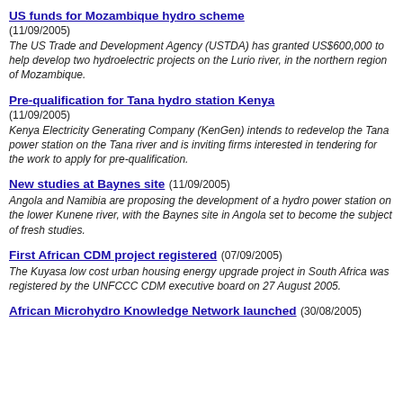US funds for Mozambique hydro scheme
(11/09/2005)
The US Trade and Development Agency (USTDA) has granted US$600,000 to help develop two hydroelectric projects on the Lurio river, in the northern region of Mozambique.
Pre-qualification for Tana hydro station Kenya
(11/09/2005)
Kenya Electricity Generating Company (KenGen) intends to redevelop the Tana power station on the Tana river and is inviting firms interested in tendering for the work to apply for pre-qualification.
New studies at Baynes site
(11/09/2005)
Angola and Namibia are proposing the development of a hydro power station on the lower Kunene river, with the Baynes site in Angola set to become the subject of fresh studies.
First African CDM project registered
(07/09/2005)
The Kuyasa low cost urban housing energy upgrade project in South Africa was registered by the UNFCCC CDM executive board on 27 August 2005.
African Microhydro Knowledge Network launched
(30/08/2005)